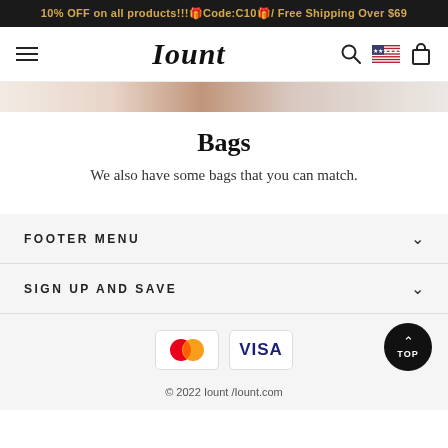10% OFF on all products!!!🎁Code:C10🎁/ Free Shipping Over $69
Iount
[Figure (photo): Partial product banner image showing bags/accessories in pink and neutral tones]
Bags
We also have some bags that you can match.
FOOTER MENU
SIGN UP AND SAVE
[Figure (logo): Mastercard and VISA payment logos]
© 2022 Iount /Iount.com